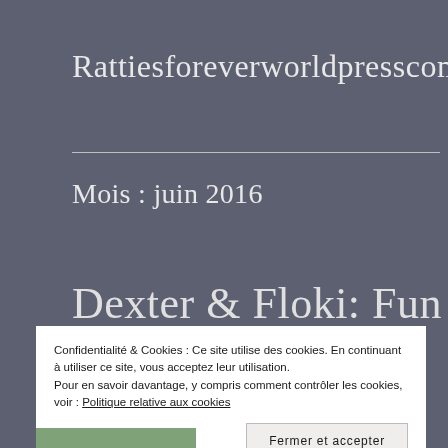Rattiesforeverworldpresscom
Mois : juin 2016
Dexter & Floki: Fun with
Confidentialité & Cookies : Ce site utilise des cookies. En continuant à utiliser ce site, vous acceptez leur utilisation.
Pour en savoir davantage, y compris comment contrôler les cookies, voir : Politique relative aux cookies
Fermer et accepter